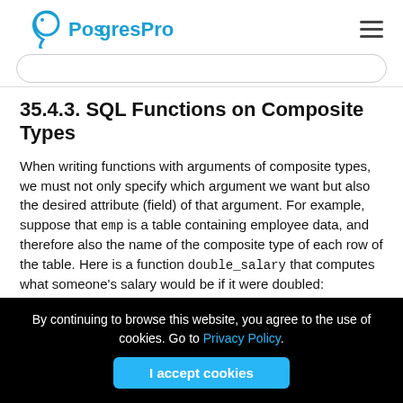PostgresPro
35.4.3. SQL Functions on Composite Types
When writing functions with arguments of composite types, we must not only specify which argument we want but also the desired attribute (field) of that argument. For example, suppose that emp is a table containing employee data, and therefore also the name of the composite type of each row of the table. Here is a function double_salary that computes what someone's salary would be if it were doubled:
By continuing to browse this website, you agree to the use of cookies. Go to Privacy Policy.
I accept cookies